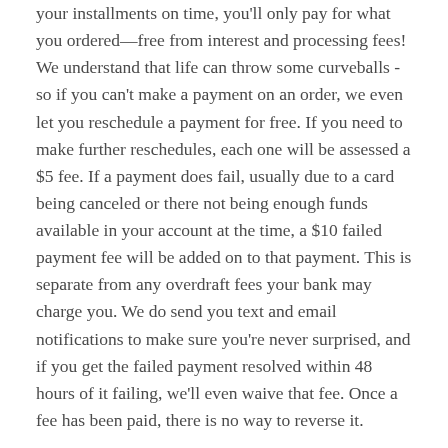your installments on time, you'll only pay for what you ordered—free from interest and processing fees! We understand that life can throw some curveballs - so if you can't make a payment on an order, we even let you reschedule a payment for free. If you need to make further reschedules, each one will be assessed a $5 fee. If a payment does fail, usually due to a card being canceled or there not being enough funds available in your account at the time, a $10 failed payment fee will be added on to that payment. This is separate from any overdraft fees your bank may charge you. We do send you text and email notifications to make sure you're never surprised, and if you get the failed payment resolved within 48 hours of it failing, we'll even waive that fee. Once a fee has been paid, there is no way to reverse it.